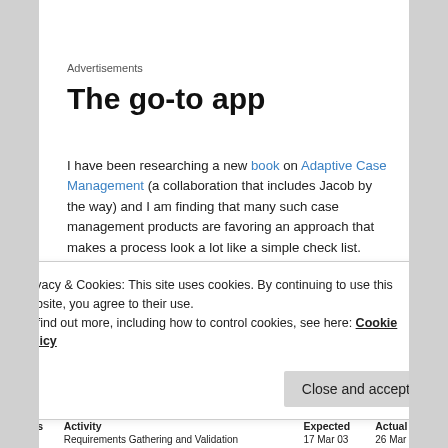Advertisements
The go-to app
I have been researching a new book on Adaptive Case Management (a collaboration that includes Jacob by the way) and I am finding that many such case management products are favoring an approach that makes a process look a lot like a simple check list.
Privacy & Cookies: This site uses cookies. By continuing to use this website, you agree to their use.
To find out more, including how to control cookies, see here: Cookie Policy
| Status | Activity | Expected | Actual |
| --- | --- | --- | --- |
|  | Requirements Gathering and Validation | 17 Mar 03 | 26 Mar 03 |